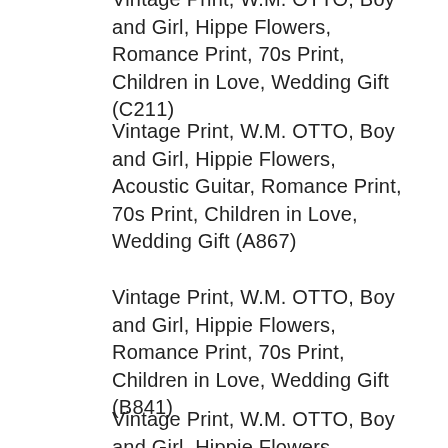Vintage Print, W.M. OTTO, Boy and Girl, Hippe Flowers, Romance Print, 70s Print, Children in Love, Wedding Gift (C211)
Vintage Print, W.M. OTTO, Boy and Girl, Hippie Flowers, Acoustic Guitar, Romance Print, 70s Print, Children in Love, Wedding Gift (A867)
Vintage Print, W.M. OTTO, Boy and Girl, Hippie Flowers, Romance Print, 70s Print, Children in Love, Wedding Gift (B841)
Vintage Print, W.M. OTTO, Boy and Girl, Hippie Flowers, Romance Print, 70s Print, Children in Love,